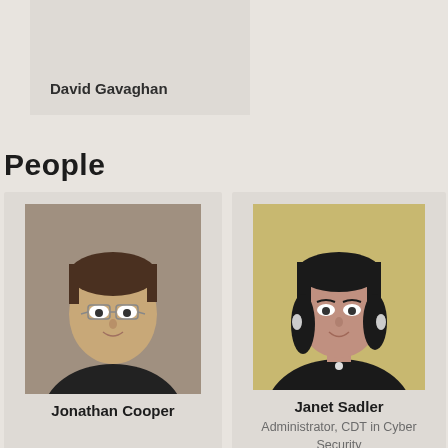David Gavaghan
People
[Figure (photo): Headshot of Jonathan Cooper, a young man with glasses and short brown hair, wearing a dark shirt, smiling]
Jonathan Cooper
[Figure (photo): Headshot of Janet Sadler, a woman with dark shoulder-length hair, wearing a black top and necklace, smiling]
Janet Sadler
Administrator, CDT in Cyber Security